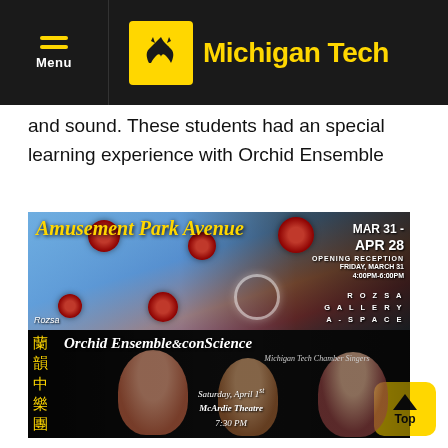Menu | Michigan Tech
and sound. These students had an special learning experience with Orchid Ensemble
[Figure (photo): Amusement Park Avenue exhibition poster with decorative red flowers and ferris wheel, showing dates MAR 31 - APR 28, ROZSA GALLERY A-SPACE]
[Figure (photo): Orchid Ensemble & conScience concert poster with Chinese characters, musicians performing, Saturday April 1st, McArdie Theatre 7:30 PM]